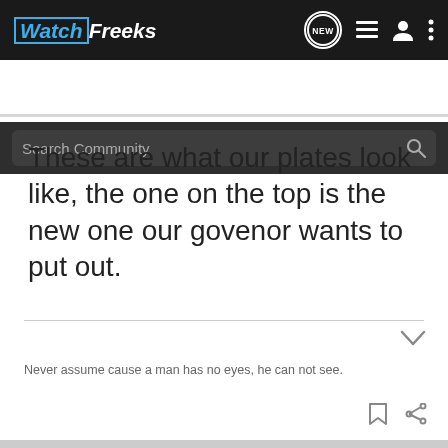WatchFreeks — navigation bar with logo, NEW, list, user, and menu icons
Search Community
These are what our plates look like, the one on the top is the new one our govenor wants to put out.
Never assume cause a man has no eyes, he can not see.